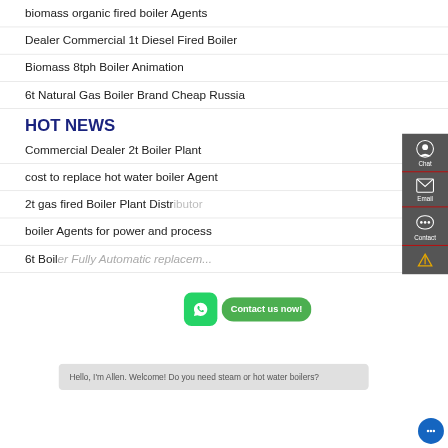biomass organic fired boiler Agents
Dealer Commercial 1t Diesel Fired Boiler
Biomass 8tph Boiler Animation
6t Natural Gas Boiler Brand Cheap Russia
HOT NEWS
Commercial Dealer 2t Boiler Plant
cost to replace hot water boiler Agent
2t gas fired Boiler Plant Distr...
boiler Agents for power and process
6t Boil... ...ly Automatic replacem...
[Figure (screenshot): Sidebar with Chat, Email, and Contact buttons on dark grey background, plus WhatsApp contact bubble and chat popup saying 'Hello, I'm Allen. Welcome! Do you need steam or hot water boilers?' and a blue chat button.]